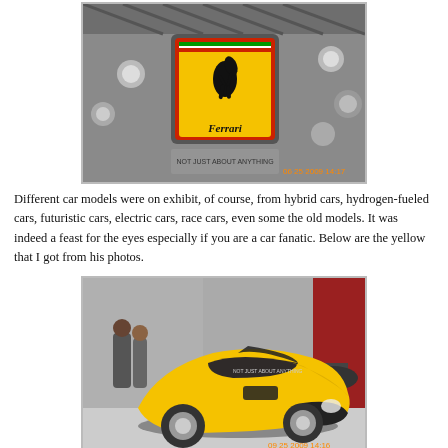[Figure (photo): Ferrari logo/sign hanging from ceiling at an auto show, with stage lighting, dated 06 25 2009 14:17]
Different car models were on exhibit, of course, from hybrid cars, hydrogen-fueled cars, futuristic cars, electric cars, race cars, even some the old models. It was indeed a feast for the eyes especially if you are a car fanatic. Below are the yellow that I got from his photos.
[Figure (photo): Yellow Ferrari sports car on display at an auto show, dated 09 25 2009 14:16]